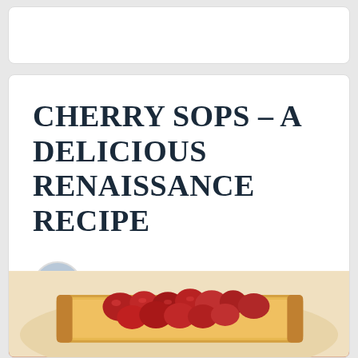CHERRY SOPS - A DELICIOUS RENAISSANCE RECIPE
Crystal King
Nov 11, 2020 8:00:00 AM
[Figure (photo): Photo of cherry sops dish — bread topped with bright red cherries on a white plate, warm tones]